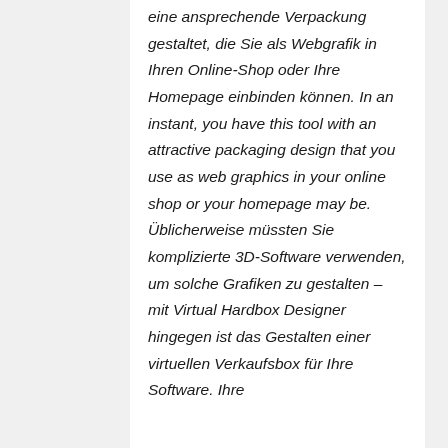eine ansprechende Verpackung gestaltet, die Sie als Webgrafik in Ihren Online-Shop oder Ihre Homepage einbinden können. In an instant, you have this tool with an attractive packaging design that you use as web graphics in your online shop or your homepage may be. Üblicherweise müssten Sie komplizierte 3D-Software verwenden, um solche Grafiken zu gestalten – mit Virtual Hardbox Designer hingegen ist das Gestalten einer virtuellen Verkaufsbox für Ihre Software. Ihre